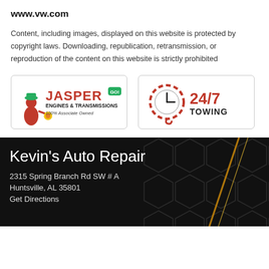www.vw.com
Content, including images, displayed on this website is protected by copyright laws. Downloading, republication, retransmission, or reproduction of the content on this website is strictly prohibited
[Figure (logo): Jasper Engines & Transmissions logo - 100% Associate Owned]
[Figure (logo): 24/7 Towing badge with chain clock icon]
Kevin's Auto Repair
2315 Spring Branch Rd SW # A
Huntsville, AL 35801
Get Directions